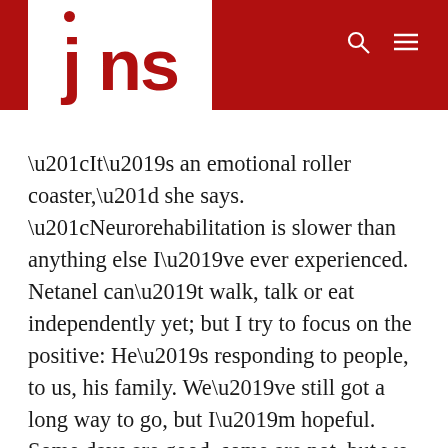[Figure (logo): JNS news logo — red letters 'jns' with a red dot above the 'j', on a white background inset into a red header bar]
“It’s an emotional roller coaster,” she says. “Neurorehabilitation is slower than anything else I’ve ever experienced. Netanel can’t walk, talk or eat independently yet; but I try to focus on the positive: He’s responding to people, to us, his family. We’ve still got a long way to go, but I’m hopeful. Some days are good, some are not, but we have met the most amazing medical professionals here at Sheba Medical Center during this challenging period.”
“My advice,” she adds, “is to always try and find